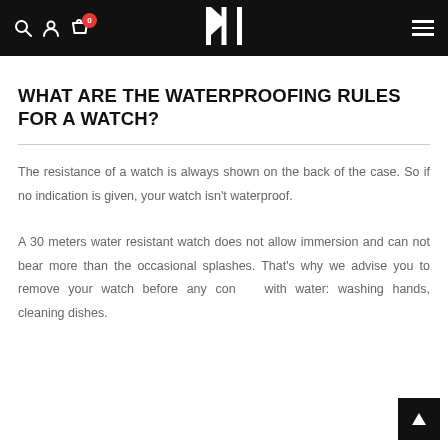lip (logo) | navigation icons | cart (0)
WHAT ARE THE WATERPROOFING RULES FOR A WATCH?
The resistance of a watch is always shown on the back of the case. So if no indication is given, your watch isn't waterproof.
A 30 meters water resistant watch does not allow immersion and can not bear more than the occasional splashes. That's why we advise you to remove your watch before any contact with water: washing hands, cleaning dishes.